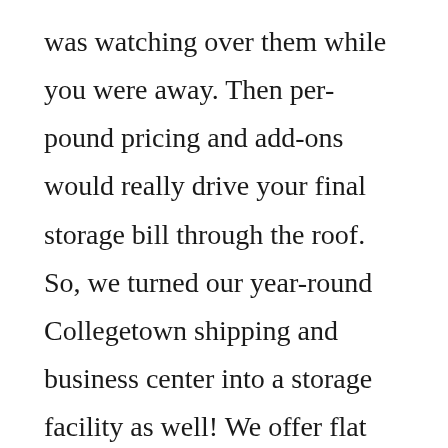was watching over them while you were away. Then per-pound pricing and add-ons would really drive your final storage bill through the roof. So, we turned our year-round Collegetown shipping and business center into a storage facility as well! We offer flat rate, simply priced storage options, personal pickups, and extremely flexible delivery and shipping options on the back end. Our storage has grown exponentially every year, smashing records again in 2017